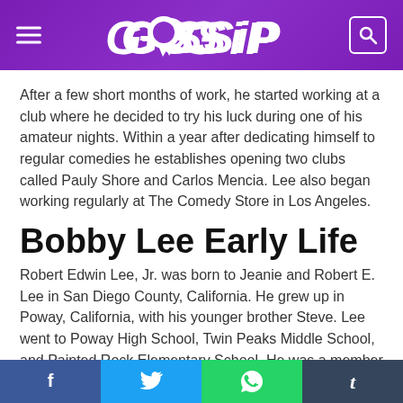GOSSIP
After a few short months of work, he started working at a club where he decided to try his luck during one of his amateur nights. Within a year after dedicating himself to regular comedies he establishes opening two clubs called Pauly Shore and Carlos Mencia. Lee also began working regularly at The Comedy Store in Los Angeles.
Bobby Lee Early Life
Robert Edwin Lee, Jr. was born to Jeanie and Robert E. Lee in San Diego County, California. He grew up in Poway, California, with his younger brother Steve. Lee went to Poway High School, Twin Peaks Middle School, and Painted Rock Elementary School. He was a member of a
Facebook Twitter WhatsApp Tumblr